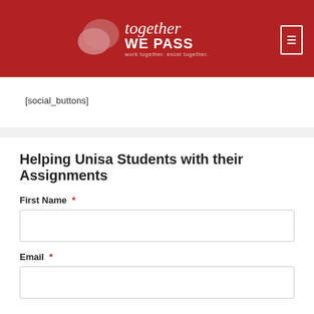[Figure (logo): Together We Pass logo on dark red header background with speech bubble icon and tagline 'work together. excel together.']
[social_buttons]
Helping Unisa Students with their Assignments
First Name *
Email *